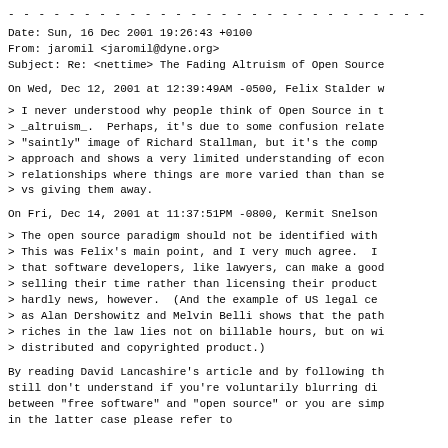- - - - - - - - - - - - - - - - - - - - - - - - - - - -
Date: Sun, 16 Dec 2001 19:26:43 +0100
From: jaromil <jaromil@dyne.org>
Subject: Re: <nettime> The Fading Altruism of Open Source
On Wed, Dec 12, 2001 at 12:39:49AM -0500, Felix Stalder w
> I never understood why people think of Open Source in t
> _altruism_. Perhaps, it's due to some confusion relate
> "saintly" image of Richard Stallman, but it's the comp
> approach and shows a very limited understanding of econ
> relationships where things are more varied than than se
> vs giving them away.
On Fri, Dec 14, 2001 at 11:37:51PM -0800, Kermit Snelson
> The open source paradigm should not be identified with
> This was Felix's main point, and I very much agree. I
> that software developers, like lawyers, can make a good
> selling their time rather than licensing their product
> hardly news, however. (And the example of US legal ce
> as Alan Dershowitz and Melvin Belli shows that the path
> riches in the law lies not on billable hours, but on wi
> distributed and copyrighted product.)
By reading David Lancashire's article and by following th
still don't understand if you're voluntarily blurring di
between "free software" and "open source" or you are simp
in the latter case please refer to